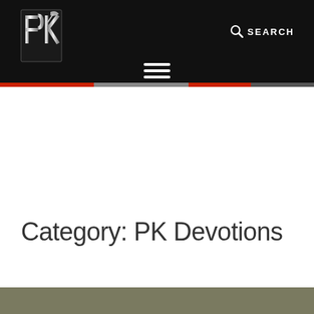PK logo and SEARCH navigation header
Category: PK Devotions
[Figure (photo): Partial bottom image, appears to be a dark olive/brown toned photograph, partially visible at the bottom of the page]